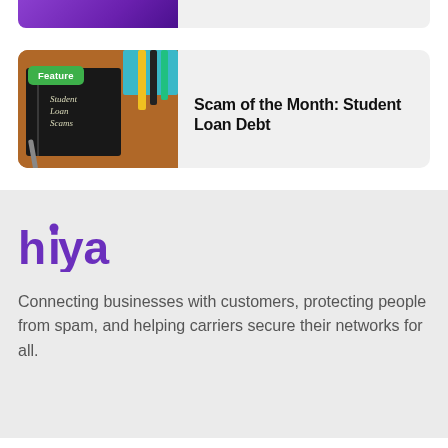[Figure (photo): Partial top card showing a purple-toned image on the left and light grey area on the right, cropped at top of page]
[Figure (photo): Feature card image showing a black notebook with 'Student Loan Scams' written in chalk/light text on a wooden desk with colorful pens and a blue book in the background. A green 'Feature' badge overlays the top-left of the image.]
Scam of the Month: Student Loan Debt
[Figure (logo): Hiya logo in purple color]
Connecting businesses with customers, protecting people from spam, and helping carriers secure their networks for all.